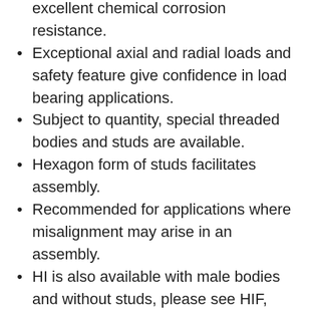excellent chemical corrosion resistance.
Exceptional axial and radial loads and safety feature give confidence in load bearing applications.
Subject to quantity, special threaded bodies and studs are available.
Hexagon form of studs facilitates assembly.
Recommended for applications where misalignment may arise in an assembly.
HI is also available with male bodies and without studs, please see HIF, HIFS and HIM Rod End.
Metric sizes of this range are